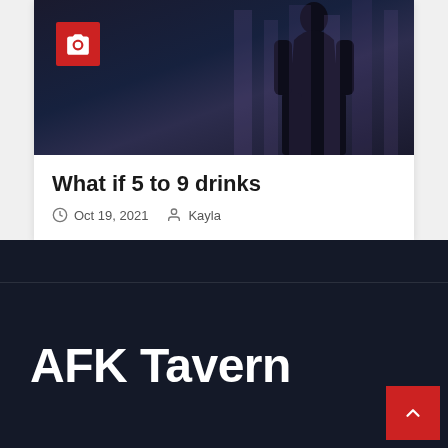[Figure (screenshot): Dark anime-style image showing a silhouetted figure against a city background with purple/dark blue tones. A red camera badge icon is overlaid in the top-left.]
What if 5 to 9 drinks
Oct 19, 2021   Kayla
AFK Tavern